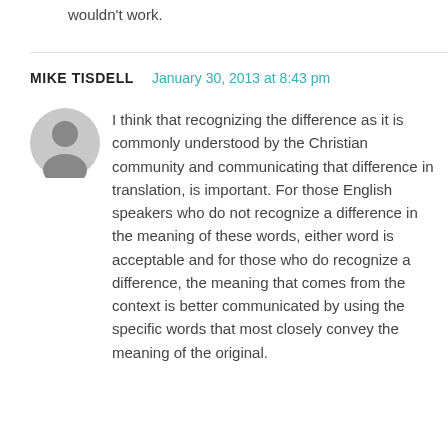wouldn't work.
MIKE TISDELL   January 30, 2013 at 8:43 pm
I think that recognizing the difference as it is commonly understood by the Christian community and communicating that difference in translation, is important. For those English speakers who do not recognize a difference in the meaning of these words, either word is acceptable and for those who do recognize a difference, the meaning that comes from the context is better communicated by using the specific words that most closely convey the meaning of the original.